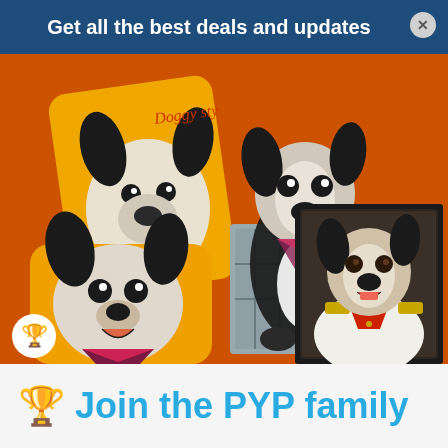Get all the best deals and updates
[Figure (photo): Product photo on orange background showing Boston Terrier dog pillows and a portrait painting — one large yellow pillow with dog face and 'Doggy Sty...' text, one orange pillow with smiling dog face and bandana, a Boston Terrier dog sitting in a metal crate with bandana, and a framed portrait painting of a Boston Terrier dressed in a military uniform with red collar.]
🏆 Join the PYP family